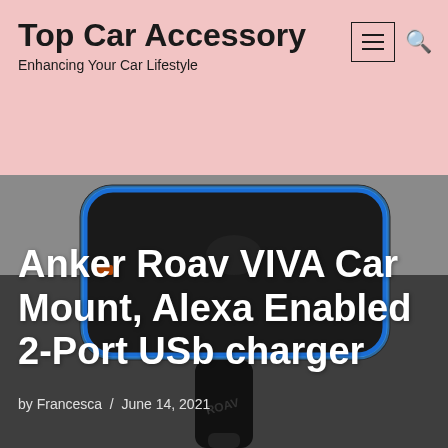Top Car Accessory — Enhancing Your Car Lifestyle
Anker Roav VIVA Car Mount, Alexa Enabled 2-Port USb charger
by Francesca  /  June 14, 2021
[Figure (photo): Close-up product photo of an Anker Roav VIVA car charger device with a black body, blue LED ring light around the top, and a USB port visible, mounted on a stem with 'ROAV' branding visible, set against a gray background.]